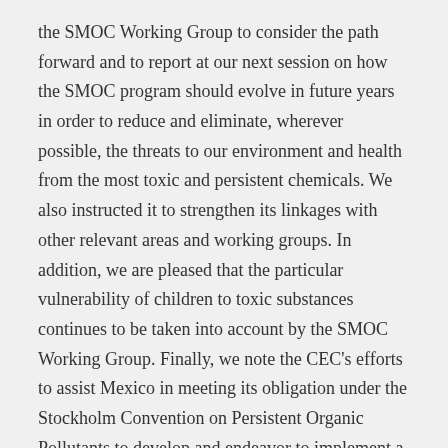the SMOC Working Group to consider the path forward and to report at our next session on how the SMOC program should evolve in future years in order to reduce and eliminate, wherever possible, the threats to our environment and health from the most toxic and persistent chemicals. We also instructed it to strengthen its linkages with other relevant areas and working groups. In addition, we are pleased that the particular vulnerability of children to toxic substances continues to be taken into account by the SMOC Working Group. Finally, we note the CEC's efforts to assist Mexico in meeting its obligation under the Stockholm Convention on Persistent Organic Pollutants to develop and endeavor to implement a national implementation plan.
Cooperation on North American Pollutant Release and Transfer Registers (PRTRs)